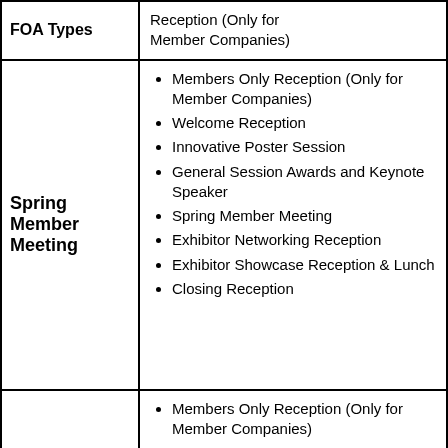| FOA Types | Events/Activities |
| --- | --- |
| FOA Types (partial) | Reception (Only for Member Companies) |
| Spring Member Meeting | Members Only Reception (Only for Member Companies)
Welcome Reception
Innovative Poster Session
General Session Awards and Keynote Speaker
Spring Member Meeting
Exhibitor Networking Reception
Exhibitor Showcase Reception & Lunch
Closing Reception |
|  | Members Only Reception (Only for Member Companies) |